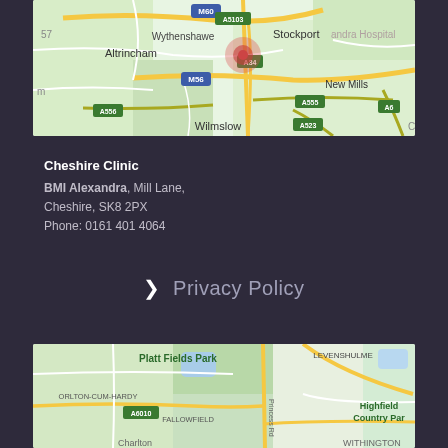[Figure (map): Google Maps screenshot showing area around Wythenshawe, Stockport, Altrincham, Wilmslow including road labels M60, A5103, M56, A34, A555, A556, A523, A6 with a red pin marker near Wythenshawe]
Cheshire Clinic
BMI Alexandra, Mill Lane,
Cheshire, SK8 2PX
Phone: 0161 401 4064
❯ Privacy Policy
[Figure (map): Google Maps screenshot showing area around Platt Fields Park, Levenshulme, Fallowfield, Chorlton-cum-Hardy, Highfield Country Park, Withington with road labels A6010]